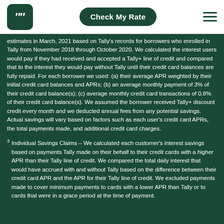Tally — Check My Rate
estimates in March, 2021 based on Tally's records for borrowers who enrolled in Tally from November 2018 through October 2020. We calculated the interest users would pay if they had received and accepted a Tally+ line of credit and compared that to the interest they would pay without Tally until their credit card balances are fully repaid. For each borrower we used: (a) their average APR weighted by their initial credit card balances and APRs; (b) an average monthly payment of 3% of their credit card balance(s); (c) average monthly credit card transactions of 0.8% of their credit card balance(s). We assumed the borrower received Tally+ discount credit every month and we deducted annual fees from any potential savings. Actual savings will vary based on factors such as each user's credit card APRs, the total payments made, and additional credit card charges.
3  Individual Savings Claims – We calculated each customer's interest savings based on payments Tally made on their behalf to their credit cards with a higher APR than their Tally line of credit. We compared the total daily interest that would have accrued with and without Tally based on the difference between their credit card APR and the APR for their Tally line of credit. We excluded payments made to cover minimum payments to cards with a lower APR than Tally or to cards that were in a grace period at the time of payment.